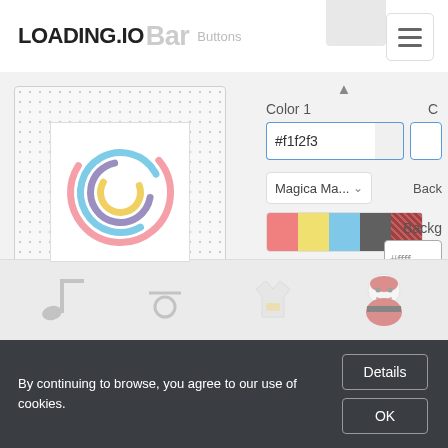LOADING.IO
[Figure (illustration): Loading spinner preview with concentric arc rings in pink, blue, yellow, and purple on a dotted background, shown inside a white bordered inner box]
Color 1
#f1f2f3
Magica Ma...
Back
[Figure (illustration): Color palette swatch strip showing pink, yellow, light blue, dark gray, and dark red/brown swatches]
#ffff
Animation
A
breath
...
Default Options
Ima
By continuing to browse, you agree to our use of cookies.
Details
OK